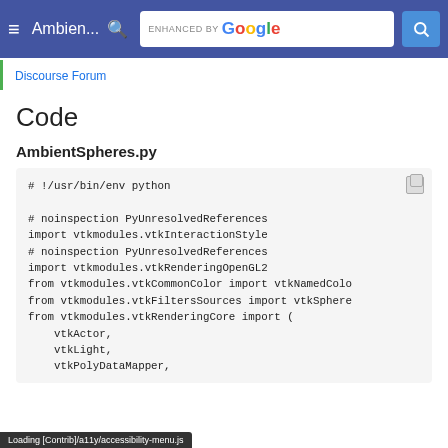Ambien... [navigation bar with hamburger menu, search, Google search]
Discourse Forum
Code
AmbientSpheres.py
# !/usr/bin/env python

# noinspection PyUnresolvedReferences
import vtkmodules.vtkInteractionStyle
# noinspection PyUnresolvedReferences
import vtkmodules.vtkRenderingOpenGL2
from vtkmodules.vtkCommonColor import vtkNamedColo
from vtkmodules.vtkFiltersSources import vtkSphere
from vtkmodules.vtkRenderingCore import (
    vtkActor,
    vtkLight,
    vtkPolyDataMapper,
Loading [Contrib]/a11y/accessibility-menu.js